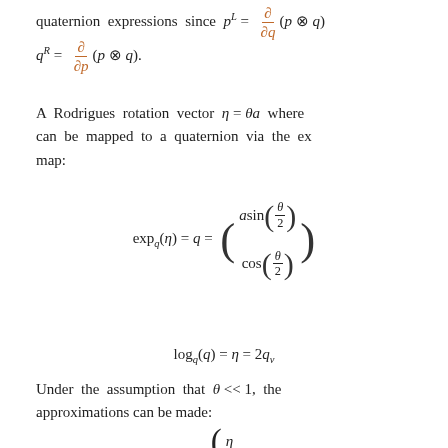quaternion expressions since p^L = ∂/∂q(p ⊗ q).
A Rodrigues rotation vector η = θa where can be mapped to a quaternion via the exponential map:
Under the assumption that θ << 1, the approximations can be made: